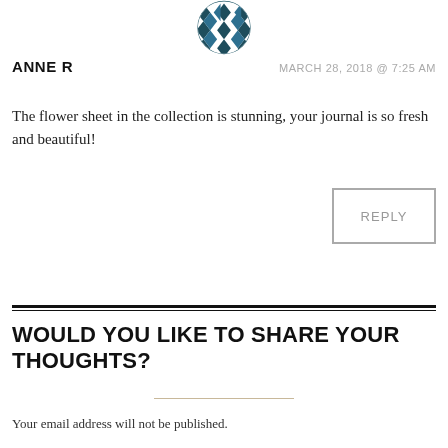[Figure (illustration): Circular avatar with geometric diamond/star pattern in dark teal and white, only bottom half visible]
ANNE R
MARCH 28, 2018 @ 7:25 AM
The flower sheet in the collection is stunning, your journal is so fresh and beautiful!
REPLY
WOULD YOU LIKE TO SHARE YOUR THOUGHTS?
Your email address will not be published.